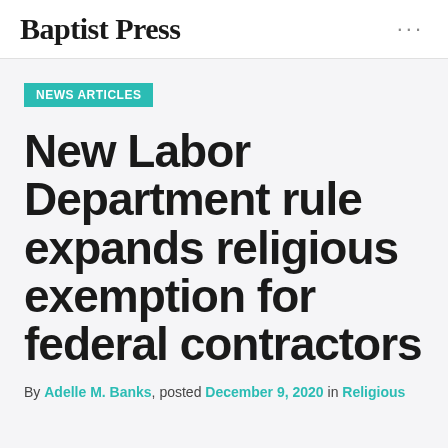Baptist Press
NEWS ARTICLES
New Labor Department rule expands religious exemption for federal contractors
By Adelle M. Banks, posted December 9, 2020 in Religious